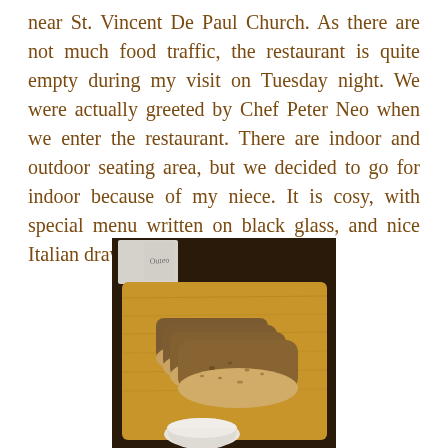near St. Vincent De Paul Church. As there are not much food traffic, the restaurant is quite empty during my visit on Tuesday night. We were actually greeted by Chef Peter Neo when we enter the restaurant. There are indoor and outdoor seating area, but we decided to go for indoor because of my niece. It is cosy, with special menu written on black glass, and nice Italian drawing on the wall.
[Figure (photo): Photo of sliced bread arranged on a wooden cutting board, with a small white bowl visible at the bottom. A white card/sign is visible in the background on a dark table.]